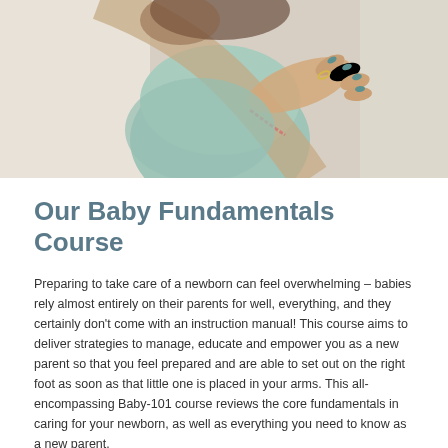[Figure (photo): Close-up photo of a mother holding a baby dressed in a light green outfit, with the mother's hands visible including painted teal nails and a bracelet]
Our Baby Fundamentals Course
Preparing to take care of a newborn can feel overwhelming – babies rely almost entirely on their parents for well, everything, and they certainly don't come with an instruction manual! This course aims to deliver strategies to manage, educate and empower you as a new parent so that you feel prepared and are able to set out on the right foot as soon as that little one is placed in your arms. This all-encompassing Baby-101 course reviews the core fundamentals in caring for your newborn, as well as everything you need to know as a new parent.
Course topics include